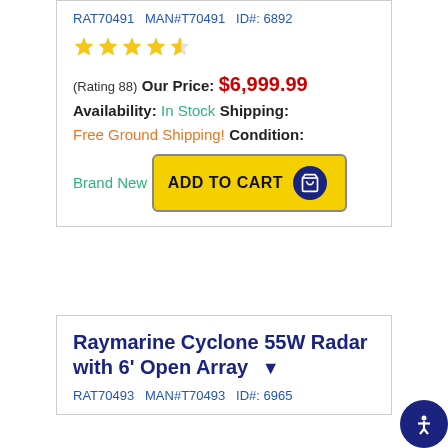RAT70491   MAN#T70491   ID#: 6892
[Figure (other): Star rating: 4.5 out of 5 stars]
(Rating 88)
Our Price:
$6,999.99
Availability:
In Stock
Shipping:
Free Ground Shipping!
Condition:
Brand New
[Figure (other): Add to Cart button with shopping cart icon]
Raymarine Cyclone 55W Radar with 6' Open Array
RAT70493   MAN#T70493   ID#: 6965